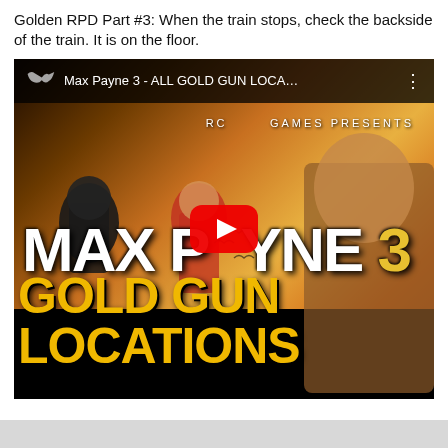Golden RPD Part #3: When the train stops, check the backside of the train. It is on the floor.
[Figure (screenshot): YouTube video thumbnail for 'Max Payne 3 - ALL GOLD GUN LOCA...' showing the Max Payne 3 game cover art with a YouTube play button overlay. The thumbnail shows game characters, the title MAX PAYNE 3 in white text, and GOLD GUN LOCATIONS in yellow text at the bottom.]